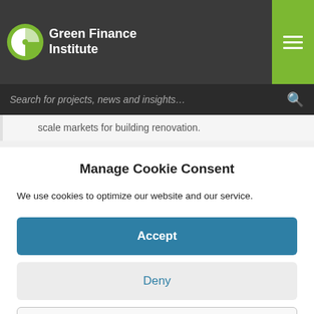Green Finance Institute
gilt corner like-minded national finance and real estate organisations across Europe to form coalitions, and collaborate with networks already in place, to share knowledge and best practice, catalyse product scale markets for building renovation.
Manage Cookie Consent
We use cookies to optimize our website and our service.
Accept
Deny
Preferences